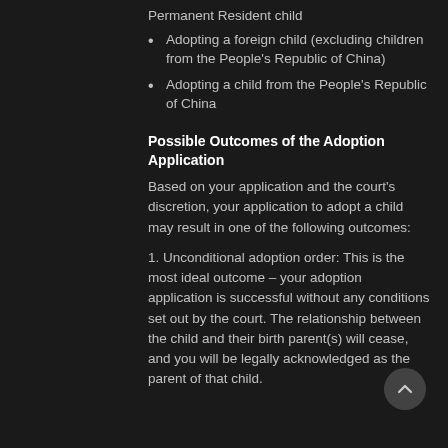Permanent Resident child
Adopting a foreign child (excluding children from the People's Republic of China)
Adopting a child from the People's Republic of China
Possible Outcomes of the Adoption Application
Based on your application and the court's discretion, your application to adopt a child may result in one of the following outcomes:
1. Unconditional adoption order: This is the most ideal outcome – your adoption application is successful without any conditions set out by the court. The relationship between the child and their birth parent(s) will cease, and you will be legally acknowledged as the parent of that child.